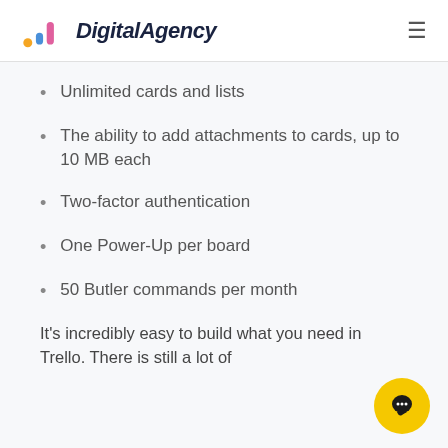DigitalAgency
Unlimited cards and lists
The ability to add attachments to cards, up to 10 MB each
Two-factor authentication
One Power-Up per board
50 Butler commands per month
It's incredibly easy to build what you need in Trello. There is still a lot of